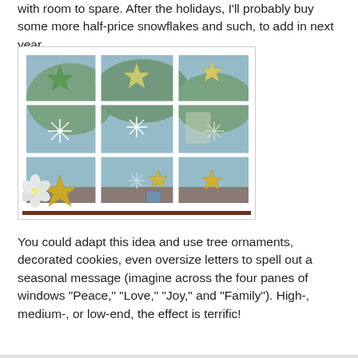with room to spare. After the holidays, I'll probably buy some more half-price snowflakes and such, to add in next year.
[Figure (photo): A white-framed window with multiple panes decorated with star and snowflake ornaments hanging inside, with trees and outdoor scenery visible through the glass.]
You could adapt this idea and use tree ornaments, decorated cookies, even oversize letters to spell out a seasonal message (imagine across the four panes of windows "Peace," "Love," "Joy," and "Family"). High-, medium-, or low-end, the effect is terrific!